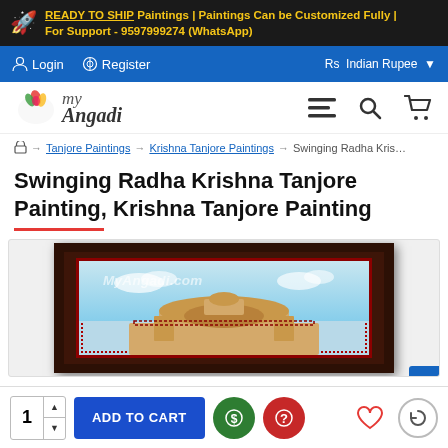READY TO SHIP Paintings | Paintings Can be Customized Fully | For Support - 9597999274 (WhatsApp)
Login  Register  Rs Indian Rupee
MyAngadi logo navigation
Home → Tanjore Paintings → Krishna Tanjore Paintings → Swinging Radha Kris…
Swinging Radha Krishna Tanjore Painting, Krishna Tanjore Painting
[Figure (photo): Framed Tanjore painting in a dark wooden frame showing a decorative architectural base with light blue sky background and ornate details, watermarked with MyAngadi.com]
1  ADD TO CART